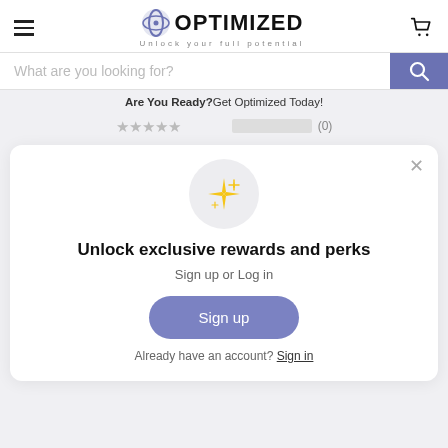OPTIMIZED — Unlock your full potential
What are you looking for?
Are You Ready? Get Optimized Today!
[Figure (screenshot): Star rating row with 5 stars and (0) review count]
[Figure (infographic): Rewards and perks popup modal with sparkle icon, Sign up and Sign in options]
Unlock exclusive rewards and perks
Sign up or Log in
Sign up
Already have an account? Sign in